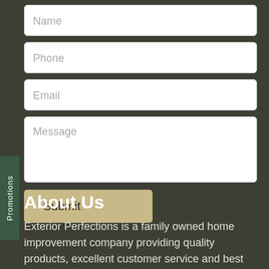[Figure (screenshot): Contact form with fields for Name, Phone, Email, Message, and a Submit button on a dark olive-green background]
Promotions
About Us
Exterior Perfections is a family owned home improvement company providing quality products, excellent customer service and best in-the-business craftsmanship to homeowners in Northern California.